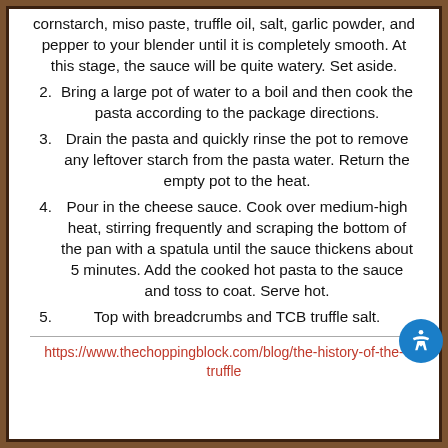cornstarch, miso paste, truffle oil, salt, garlic powder, and pepper to your blender until it is completely smooth. At this stage, the sauce will be quite watery. Set aside.
2. Bring a large pot of water to a boil and then cook the pasta according to the package directions.
3. Drain the pasta and quickly rinse the pot to remove any leftover starch from the pasta water. Return the empty pot to the heat.
4. Pour in the cheese sauce. Cook over medium-high heat, stirring frequently and scraping the bottom of the pan with a spatula until the sauce thickens about 5 minutes. Add the cooked hot pasta to the sauce and toss to coat. Serve hot.
5. Top with breadcrumbs and TCB truffle salt.
https://www.thechoppingblock.com/blog/the-history-of-the-truffle